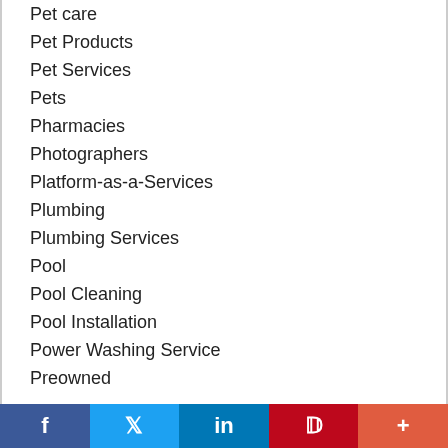Pet care
Pet Products
Pet Services
Pets
Pharmacies
Photographers
Platform-as-a-Services
Plumbing
Plumbing Services
Pool
Pool Cleaning
Pool Installation
Power Washing Service
Preowned
f  Twitter  in  P  +